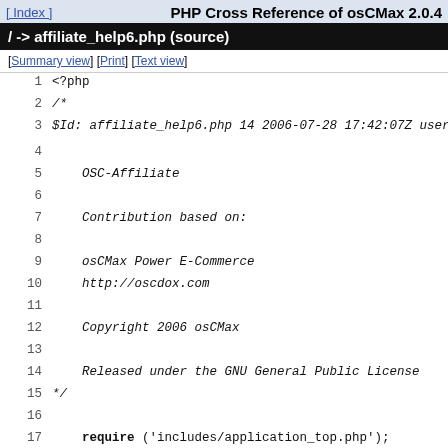[ Index ]   PHP Cross Reference of osCMax 2.0.4
/ -> affiliate_help6.php (source)
[Summary view] [Print] [Text view]
1  <?php
2  /*
3  $Id: affiliate_help6.php 14 2006-07-28 17:42:07Z user $
4
5      OSC-Affiliate
6
7      Contribution based on:
8
9      osCMax Power E-Commerce
10     http://oscdox.com
11
12     Copyright 2006 osCMax
13
14     Released under the GNU General Public License
15  */
16
17     require ('includes/application_top.php');
18